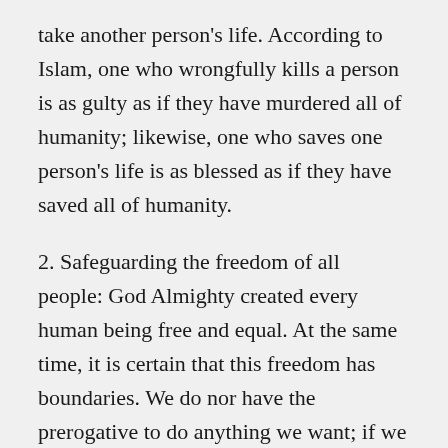take another person's life. According to Islam, one who wrongfully kills a person is as gulty as if they have murdered all of humanity; likewise, one who saves one person's life is as blessed as if they have saved all of humanity.
2. Safeguarding the freedom of all people: God Almighty created every human being free and equal. At the same time, it is certain that this freedom has boundaries. We do nor have the prerogative to do anything we want; if we had such freedom this would violate the freedoms of others.
3. The consideration of someone...Wh...